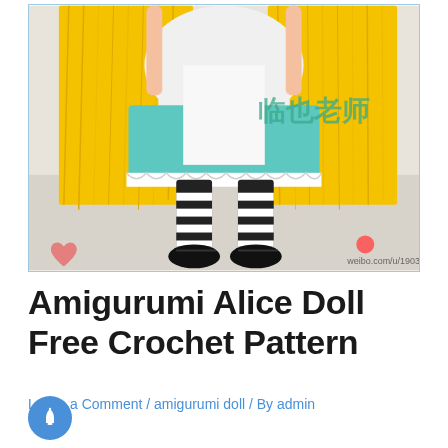[Figure (photo): Crocheted amigurumi Alice in Wonderland doll shown from the waist down, with long yellow yarn hair, white apron over a teal dress with white lace trim, black and white striped stockings, and black Mary Jane shoes. Chinese watermark text and weibo.com/u/1900332389 watermark visible in bottom right.]
Amigurumi Alice Doll Free Crochet Pattern
Leave a Comment / amigurumi doll / By admin